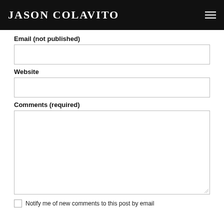JASON COLAVITO
Email (not published)
Website
Comments (required)
Notify me of new comments to this post by email